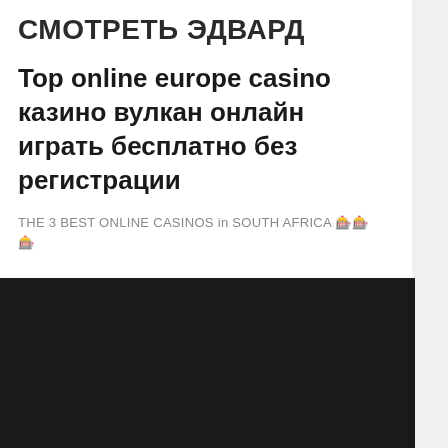СМОТРЕТЬ ЭДВАРД
Top online europe casino казино вулкан онлайн играть бесплатно без регистрации
THE 3 BEST ONLINE CASINOS in SOUTH AFRICA 🎰🎰
[Figure (other): Dark/black rectangular block, likely a video or image embed area]